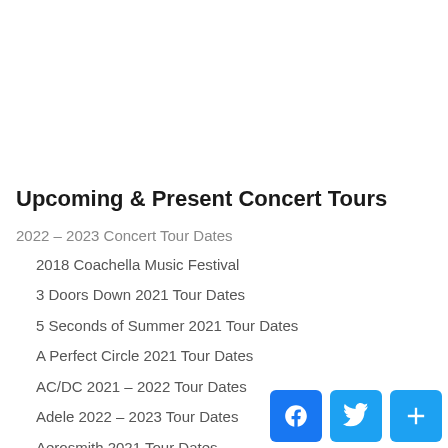Upcoming & Present Concert Tours
2022 – 2023 Concert Tour Dates
2018 Coachella Music Festival
3 Doors Down 2021 Tour Dates
5 Seconds of Summer 2021 Tour Dates
A Perfect Circle 2021 Tour Dates
AC/DC 2021 – 2022 Tour Dates
Adele 2022 – 2023 Tour Dates
Aerosmith 2021 Tour Dates
Alan Jackson 2021 Tour Dates